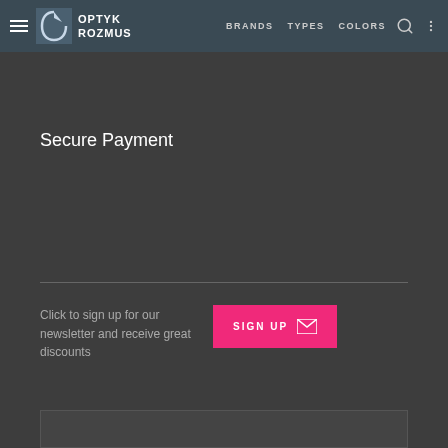BRANDS   TYPES   COLORS
Secure Payment
Click to sign up for our newsletter and receive great discounts
SIGN UP